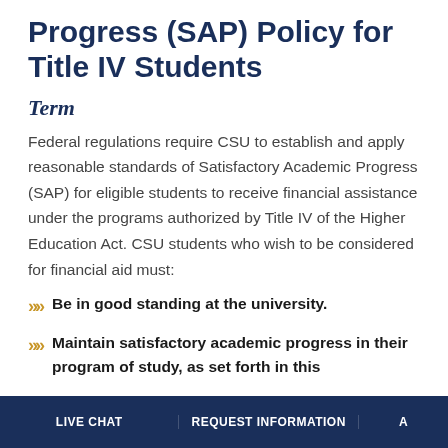Progress (SAP) Policy for Title IV Students
Term
Federal regulations require CSU to establish and apply reasonable standards of Satisfactory Academic Progress (SAP) for eligible students to receive financial assistance under the programs authorized by Title IV of the Higher Education Act. CSU students who wish to be considered for financial aid must:
Be in good standing at the university.
Maintain satisfactory academic progress in their program of study, as set forth in this
LIVE CHAT | REQUEST INFORMATION | A